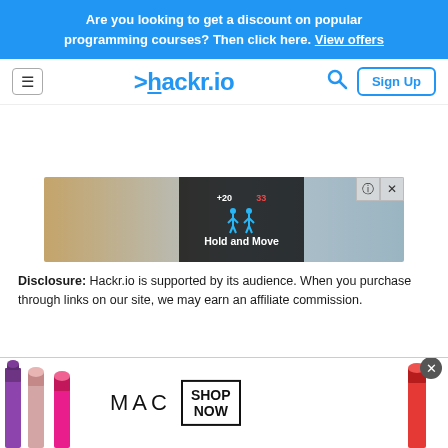Are you looking to get a discount on popular programming courses? Then click here. View offers
[Figure (screenshot): hackr.io website navigation bar with hamburger menu, logo, search icon, and Sign Up button]
[Figure (screenshot): Advertisement banner showing a game called 'Hold and Move' with dark overlay on nature background]
Disclosure: Hackr.io is supported by its audience. When you purchase through links on our site, we may earn an affiliate commission.
[Figure (screenshot): MAC cosmetics advertisement showing lipsticks with SHOP NOW button]